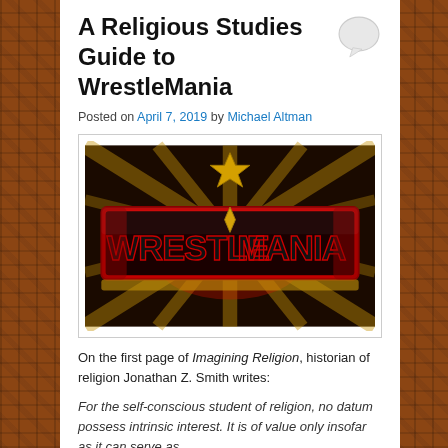A Religious Studies Guide to WrestleMania
Posted on April 7, 2019 by Michael Altman
[Figure (photo): WrestleMania logo image — WWE logo above stylized red and black WrestleMania lettering with gold starburst background]
On the first page of Imagining Religion, historian of religion Jonathan Z. Smith writes:
For the self-conscious student of religion, no datum possess intrinsic interest. It is of value only insofar as it can serve as